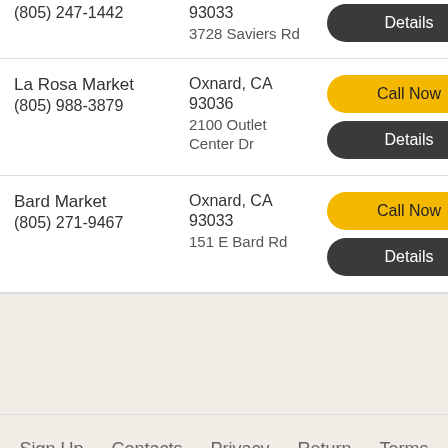(805) 247-1442
93033
3728 Saviers Rd
La Rosa Market
(805) 988-3879
Oxnard, CA 93036
2100 Outlet Center Dr
Bard Market
(805) 271-9467
Oxnard, CA 93033
151 E Bard Rd
Sign Up   Contacts   Privacy   Return   Terms